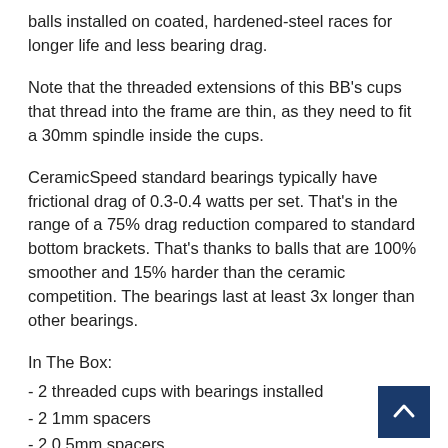balls installed on coated, hardened-steel races for longer life and less bearing drag.
Note that the threaded extensions of this BB's cups that thread into the frame are thin, as they need to fit a 30mm spindle inside the cups.
CeramicSpeed standard bearings typically have frictional drag of 0.3-0.4 watts per set. That's in the range of a 75% drag reduction compared to standard bottom brackets. That's thanks to balls that are 100% smoother and 15% harder than the ceramic competition. The bearings last at least 3x longer than other bearings.
In The Box:
- 2 threaded cups with bearings installed
- 2 1mm spacers
- 2 0.5mm spacers
- 2 dust covers
- O-ring